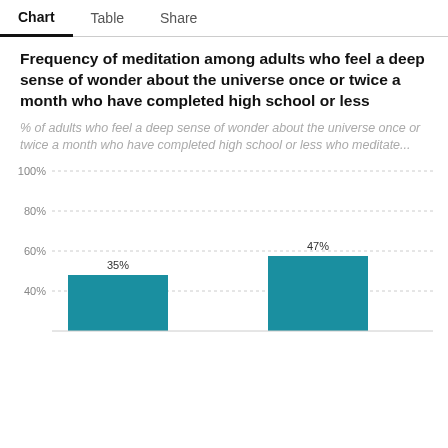Chart | Table | Share
Frequency of meditation among adults who feel a deep sense of wonder about the universe once or twice a month who have completed high school or less
% of adults who feel a deep sense of wonder about the universe once or twice a month who have completed high school or less who meditate...
[Figure (bar-chart): Frequency of meditation]